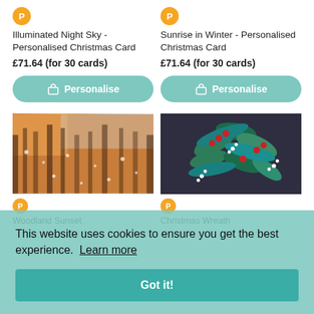Illuminated Night Sky - Personalised Christmas Card
£71.64 (for 30 cards)
Sunrise in Winter - Personalised Christmas Card
£71.64 (for 30 cards)
[Figure (photo): Forest with snow and warm orange light filtering through trees]
[Figure (photo): Christmas wreath with holly, red berries, and blue-green leaves on dark background]
Woodland Sunset
Christmas Wreath
This website uses cookies to ensure you get the best experience.  Learn more
Got it!